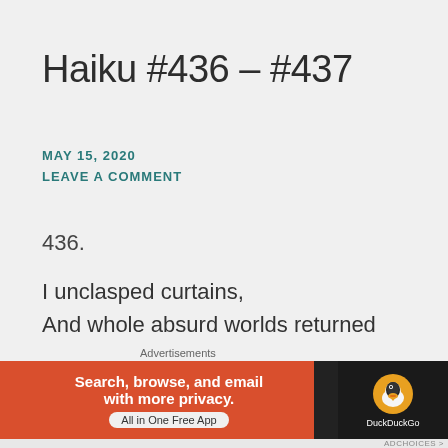Haiku #436 – #437
MAY 15, 2020
LEAVE A COMMENT
436.
I unclasped curtains,
And whole absurd worlds returned
Just as they were left.
437
[Figure (screenshot): DuckDuckGo advertisement banner: orange left side with text 'Search, browse, and email with more privacy. All in One Free App' and dark right side with DuckDuckGo duck logo]